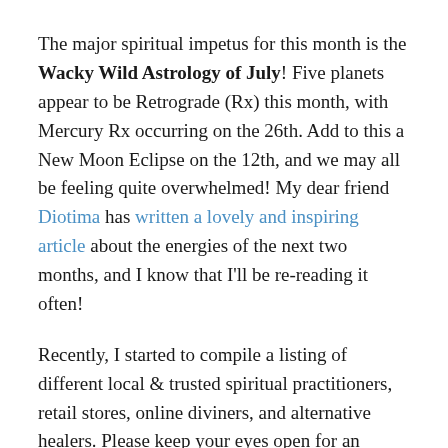The major spiritual impetus for this month is the Wacky Wild Astrology of July! Five planets appear to be Retrograde (Rx) this month, with Mercury Rx occurring on the 26th. Add to this a New Moon Eclipse on the 12th, and we may all be feeling quite overwhelmed! My dear friend Diotima has written a lovely and inspiring article about the energies of the next two months, and I know that I'll be re-reading it often!
Recently, I started to compile a listing of different local & trusted spiritual practitioners, retail stores, online diviners, and alternative healers. Please keep your eyes open for an additional email from me this month (and if you would like to be added, please let me know!).
As always, for those that are interested in mentoring, divination, house clearings, and/or personal healing appointments, I have numerous open days during the